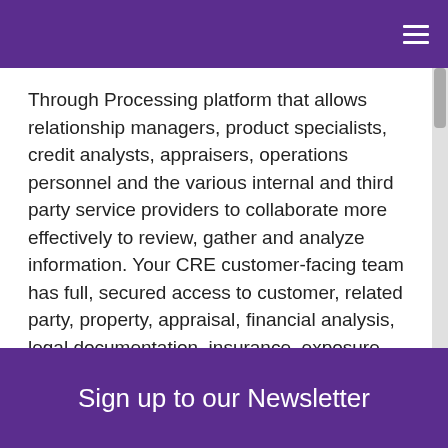Through Processing platform that allows relationship managers, product specialists, credit analysts, appraisers, operations personnel and the various internal and third party service providers to collaborate more effectively to review, gather and analyze information. Your CRE customer-facing team has full, secured access to customer, related party, property, appraisal, financial analysis, legal documentation, insurance, exposure, rate, credit history, balance and other information easily, no matter what system or file contains that information. No more paper files being passed from one desk to another. Now everyone has access to all the information they need with a click of a mouse.
Sign up to our Newsletter